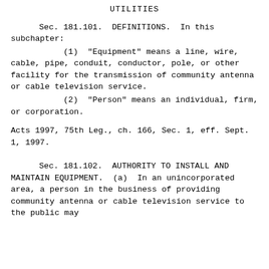UTILITIES
Sec. 181.101. DEFINITIONS. In this subchapter:
(1) "Equipment" means a line, wire, cable, pipe, conduit, conductor, pole, or other facility for the transmission of community antenna or cable television service.
(2) "Person" means an individual, firm, or corporation.
Acts 1997, 75th Leg., ch. 166, Sec. 1, eff. Sept. 1, 1997.
Sec. 181.102. AUTHORITY TO INSTALL AND MAINTAIN EQUIPMENT. (a) In an unincorporated area, a person in the business of providing community antenna or cable television service to the public may